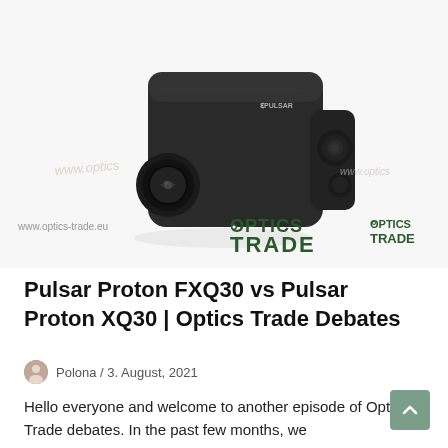[Figure (photo): A Pulsar Proton thermal imaging monocular/clip-on device, matte black, photographed on white background. Optics Trade watermark logos visible: 'OPTICS TRADE' in green text appears twice at bottom center-right of image. Website URL 'www.optics-trade.eu' at bottom left.]
Pulsar Proton FXQ30 vs Pulsar Proton XQ30 | Optics Trade Debates
Polona / 3. August, 2021
Hello everyone and welcome to another episode of Optics Trade debates. In the past few months, we